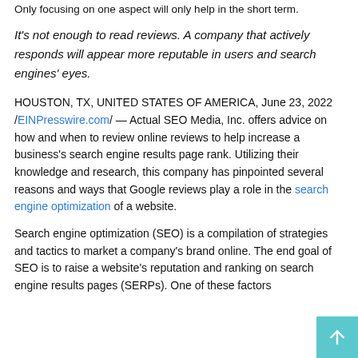Only focusing on one aspect will only help in the short term.
It's not enough to read reviews. A company that actively responds will appear more reputable in users and search engines' eyes.
HOUSTON, TX, UNITED STATES OF AMERICA, June 23, 2022 /EINPresswire.com/ — Actual SEO Media, Inc. offers advice on how and when to review online reviews to help increase a business's search engine results page rank. Utilizing their knowledge and research, this company has pinpointed several reasons and ways that Google reviews play a role in the search engine optimization of a website.
Search engine optimization (SEO) is a compilation of strategies and tactics to market a company's brand online. The end goal of SEO is to raise a website's reputation and ranking on search engine results pages (SERPs). One of these factors